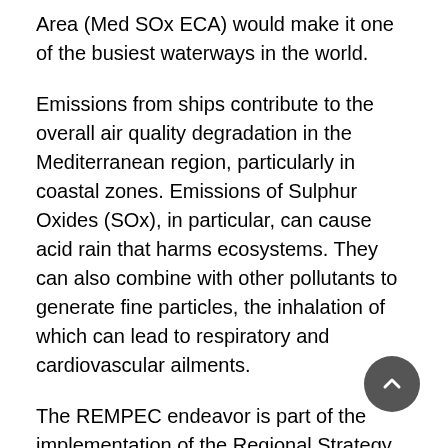Area (Med SOx ECA) would make it one of the busiest waterways in the world.
Emissions from ships contribute to the overall air quality degradation in the Mediterranean region, particularly in coastal zones. Emissions of Sulphur Oxides (SOx), in particular, can cause acid rain that harms ecosystems. They can also combine with other pollutants to generate fine particles, the inhalation of which can lead to respiratory and cardiovascular ailments.
The REMPEC endeavor is part of the implementation of the Regional Strategy for Prevention of and Response to Marine Pollution from Ships (2016-2021). In addition, the Ballast Water Management Strategy for the Mediterranean Sea (2022-2027), currently being prepared by REMPEC in consultation with SPA/RAC, will address the introduction of non